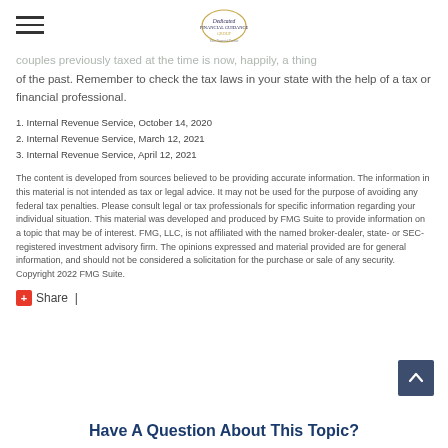couples previously taxed at the time is now, happily, a thing of the past. Remember to check the tax laws in your state with the help of a tax or financial professional.
1. Internal Revenue Service, October 14, 2020
2. Internal Revenue Service, March 12, 2021
3. Internal Revenue Service, April 12, 2021
The content is developed from sources believed to be providing accurate information. The information in this material is not intended as tax or legal advice. It may not be used for the purpose of avoiding any federal tax penalties. Please consult legal or tax professionals for specific information regarding your individual situation. This material was developed and produced by FMG Suite to provide information on a topic that may be of interest. FMG, LLC, is not affiliated with the named broker-dealer, state- or SEC-registered investment advisory firm. The opinions expressed and material provided are for general information, and should not be considered a solicitation for the purchase or sale of any security. Copyright 2022 FMG Suite.
Share |
Have A Question About This Topic?